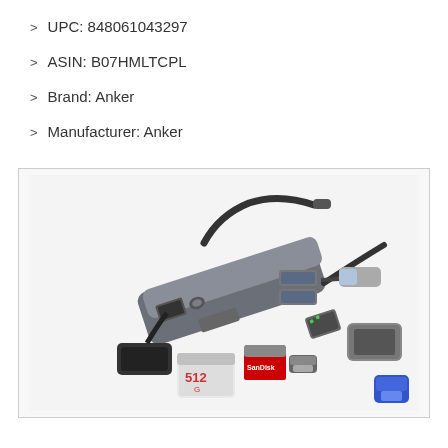UPC: 848061043297
ASIN: B07HMLTCPL
Brand: Anker
Manufacturer: Anker
[Figure (photo): Photo of an Anker USB-C hub with multiple ports including USB-A, HDMI, Ethernet, SD card reader, and connected cables and accessories displayed around it.]